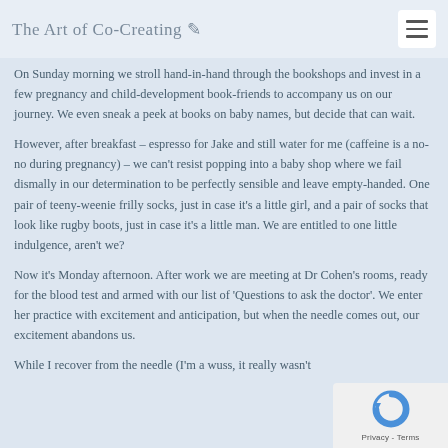The Art of Co-Creating
On Sunday morning we stroll hand-in-hand through the bookshops and invest in a few pregnancy and child-development book-friends to accompany us on our journey. We even sneak a peek at books on baby names, but decide that can wait.
However, after breakfast – espresso for Jake and still water for me (caffeine is a no-no during pregnancy) – we can't resist popping into a baby shop where we fail dismally in our determination to be perfectly sensible and leave empty-handed. One pair of teeny-weenie frilly socks, just in case it's a little girl, and a pair of socks that look like rugby boots, just in case it's a little man. We are entitled to one little indulgence, aren't we?
Now it's Monday afternoon. After work we are meeting at Dr Cohen's rooms, ready for the blood test and armed with our list of 'Questions to ask the doctor'. We enter her practice with excitement and anticipation, but when the needle comes out, our excitement abandons us.
While I recover from the needle (I'm a wuss, it really wasn't